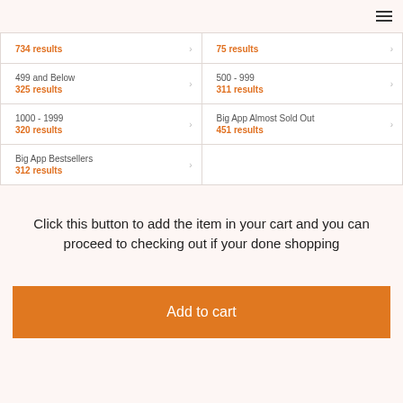☰
| 734 results | 75 results |
| 499 and Below
325 results | 500 - 999
311 results |
| 1000 - 1999
320 results | Big App Almost Sold Out
451 results |
| Big App Bestsellers
312 results |  |
Click this button to add the item in your cart and you can proceed to checking out if your done shopping
Add to cart